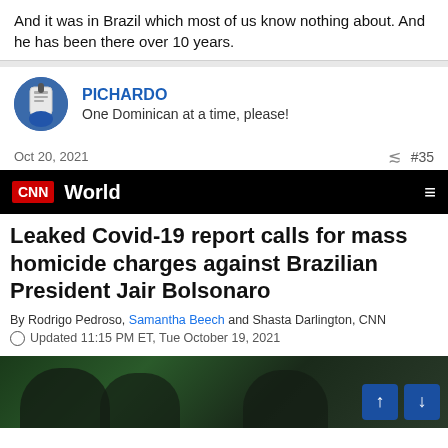And it was in Brazil which most of us know nothing about. And he has been there over 10 years.
PICHARDO
One Dominican at a time, please!
Oct 20, 2021   #35
[Figure (screenshot): CNN World navigation bar with CNN logo in red and hamburger menu icon on black background]
Leaked Covid-19 report calls for mass homicide charges against Brazilian President Jair Bolsonaro
By Rodrigo Pedroso, Samantha Beech and Shasta Darlington, CNN
Updated 11:15 PM ET, Tue October 19, 2021
[Figure (photo): Photo of men at an event with green background lighting, navigation arrows visible]